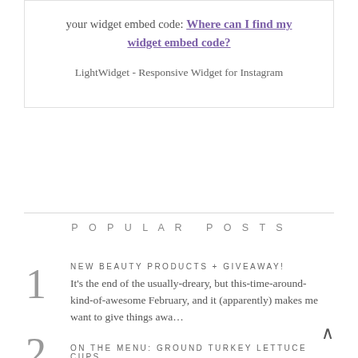your widget embed code: Where can I find my widget embed code?
LightWidget - Responsive Widget for Instagram
POPULAR POSTS
1 NEW BEAUTY PRODUCTS + GIVEAWAY! It's the end of the usually-dreary, but this-time-around-kind-of-awesome February, and it (apparently) makes me want to give things awa…
2 ON THE MENU: GROUND TURKEY LETTUCE CUPS